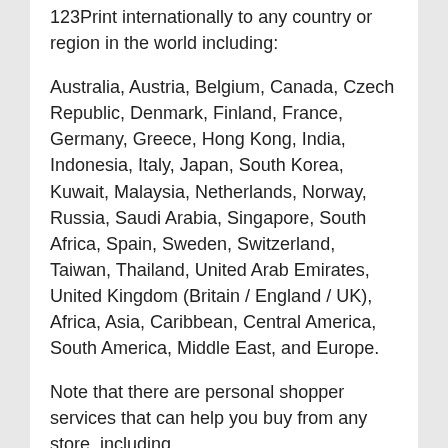123Print internationally to any country or region in the world including:
Australia, Austria, Belgium, Canada, Czech Republic, Denmark, Finland, France, Germany, Greece, Hong Kong, India, Indonesia, Italy, Japan, South Korea, Kuwait, Malaysia, Netherlands, Norway, Russia, Saudi Arabia, Singapore, South Africa, Spain, Sweden, Switzerland, Taiwan, Thailand, United Arab Emirates, United Kingdom (Britain / England / UK), Africa, Asia, Caribbean, Central America, South America, Middle East, and Europe.
Note that there are personal shopper services that can help you buy from any store, including 123Print internationally to any country or region in the world including: